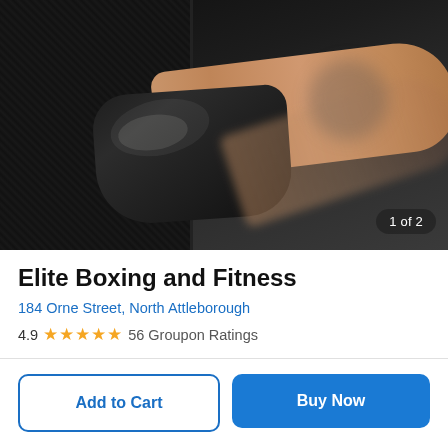[Figure (photo): A boxer's gloved/wrapped fist punching a black carbon-fiber punch bag, with a tattooed arm visible in the background. Image counter badge shows '1 of 2'.]
Elite Boxing and Fitness
184 Orne Street, North Attleborough
4.9 ★★★★★ 56 Groupon Ratings
Add to Cart
Buy Now